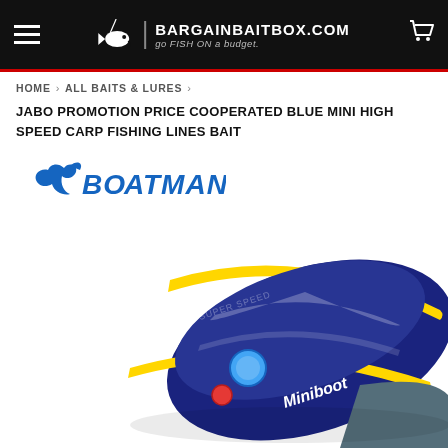BargainBaitBox.com — go FISH ON a budget.
HOME › ALL BAITS & LURES ›
JABO PROMOTION PRICE COOPERATED BLUE MINI HIGH SPEED CARP FISHING LINES BAIT
[Figure (logo): Boatman brand logo in blue with stylized dolphin/fish icon]
[Figure (photo): Blue and yellow Miniboat bait boat product, top-down angled view showing the hull with yellow stripes, blue circle button, red button, and Miniboot branding on the side]